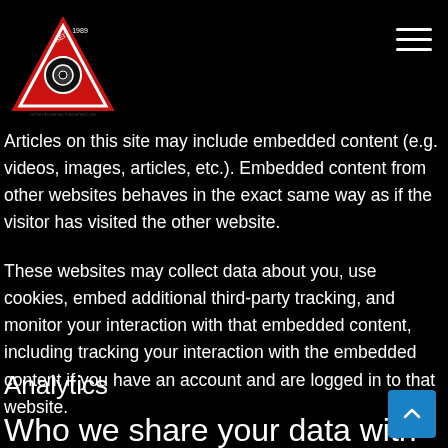Articles on this site may include embedded content (e.g. videos, images, articles, etc.). Embedded content from other websites behaves in the exact same way as if the visitor has visited the other website.
These websites may collect data about you, use cookies, embed additional third-party tracking, and monitor your interaction with that embedded content, including tracking your interaction with the embedded content if you have an account and are logged in to that website.
Analytics
Who we share your data with